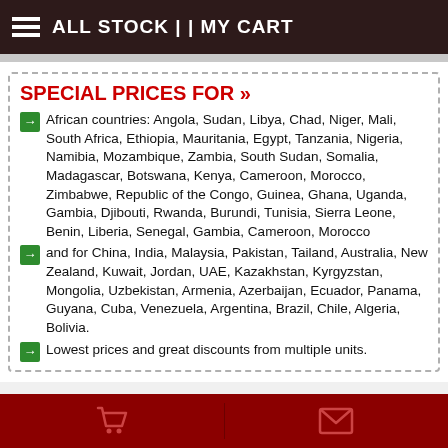ALL STOCK | | MY CART
SPECIAL PRICES FOR »
African countries: Angola, Sudan, Libya, Chad, Niger, Mali, South Africa, Ethiopia, Mauritania, Egypt, Tanzania, Nigeria, Namibia, Mozambique, Zambia, South Sudan, Somalia, Madagascar, Botswana, Kenya, Cameroon, Morocco, Zimbabwe, Republic of the Congo, Guinea, Ghana, Uganda, Gambia, Djibouti, Rwanda, Burundi, Tunisia, Sierra Leone, Benin, Liberia, Senegal, Gambia, Cameroon, Morocco
and for China, India, Malaysia, Pakistan, Tailand, Australia, New Zealand, Kuwait, Jordan, UAE, Kazakhstan, Kyrgyzstan, Mongolia, Uzbekistan, Armenia, Azerbaijan, Ecuador, Panama, Guyana, Cuba, Venezuela, Argentina, Brazil, Chile, Algeria, Bolivia.
Lowest prices and great discounts from multiple units.